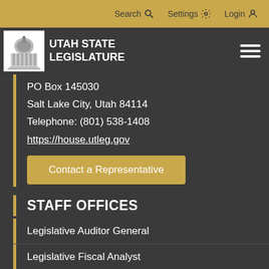Search  Settings  Login
[Figure (logo): Utah State Legislature logo with capitol building icon and text UTAH STATE LEGISLATURE]
PO Box 145030
Salt Lake City, Utah 84114
Telephone: (801) 538-1408
https://house.utleg.gov
Contact a Representative
STAFF OFFICES
Legislative Auditor General
Legislative Fiscal Analyst
Legislative Research and General Counsel
Legislative Services